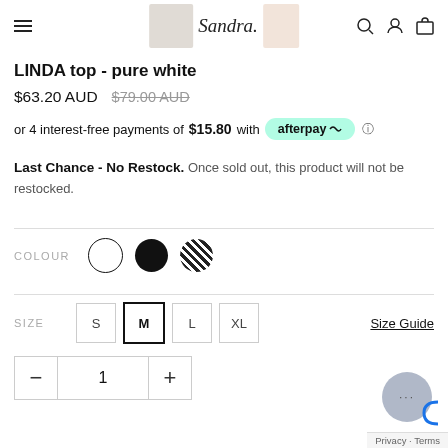Sandra brand navigation header with hamburger menu, logo, search, account, and cart icons
LINDA top - pure white
$63.20 AUD  $79.00 AUD
or 4 interest-free payments of $15.80 with afterpay
Last Chance - No Restock. Once sold out, this product will not be restocked.
COLOUR
SIZE
Size Guide
1